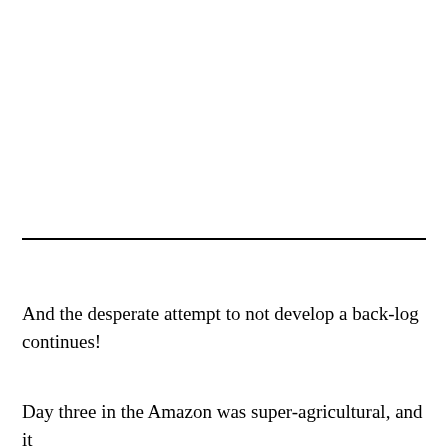And the desperate attempt to not develop a back-log continues!
Day three in the Amazon was super-agricultural, and it